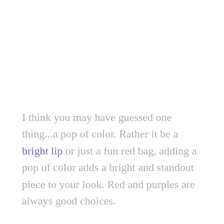I think you may have guessed one thing...a pop of color. Rather it be a bright lip or just a fun red bag, adding a pop of color adds a bright and standout piece to your look. Red and purples are always good choices.